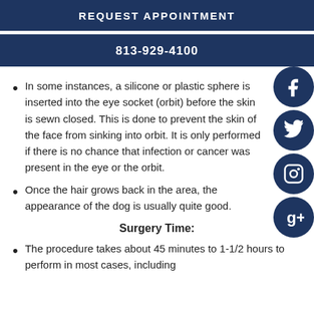REQUEST APPOINTMENT
813-929-4100
In some instances, a silicone or plastic sphere is inserted into the eye socket (orbit) before the skin is sewn closed. This is done to prevent the skin of the face from sinking into orbit. It is only performed if there is no chance that infection or cancer was present in the eye or the orbit.
Once the hair grows back in the area, the appearance of the dog is usually quite good.
Surgery Time:
The procedure takes about 45 minutes to 1-1/2 hours to perform in most cases, including